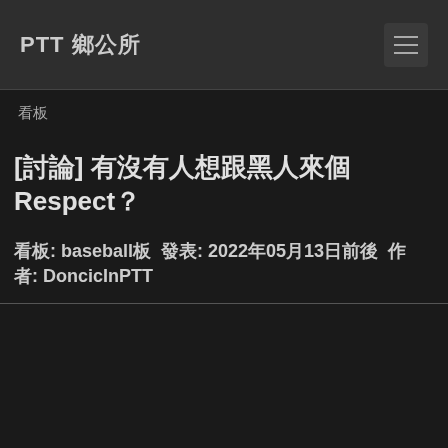PTT 鄉公所
看板
[討論] 有沒有人想跟黑人來個Respect？
看板: baseball板  發表: 2022年05月13日前後  作者: DoncicInPTT